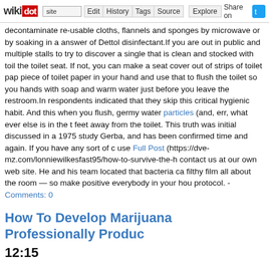wikidot | site | Edit | History | Tags | Source | Explore | Share on [Twitter]
decontaminate re-usable cloths, flannels and sponges by microwave or by soaking in a answer of Dettol disinfectant.If you are out in public and multiple stalls to try to discover a single that is clean and stocked with toilet the toilet seat. If not, you can make a seat cover out of strips of toilet paper piece of toilet paper in your hand and use that to flush the toilet so you hands with soap and warm water just before you leave the restroom.In respondents indicated that they skip this critical hygienic habit. And this when you flush, germy water particles (and, err, what ever else is in the t feet away from the toilet. This truth was initial discussed in a 1975 study Gerba, and has been confirmed time and again. If you have any sort of c use Full Post (https://dve-mz.com/lonniewilkesfast95/how-to-survive-the-h contact us at our own web site. He and his team located that bacteria ca filthy film all about the room — so make positive everybody in your hou protocol. - Comments: 0
How To Develop Marijuana Professionally Produc 12:15
Tags:
Well being Secretary Jeremy Hunt has backed the legalisation of cannab Caldwell , after his supply was confiscated at Heathrow Airport last Mon the banned substance because 2016 to control his seizures.You talko analysis, and you have received authorization for healthcare cannabis whether it's chronic pain or nerve discomfort , pain from a situation s unidentifiable discomfort.Whether or not it is clerical or sales staff, a hea about the item. Each staff member need to be really knowledgeable abou about its history, makes use of and effects. Understanding the local, sta